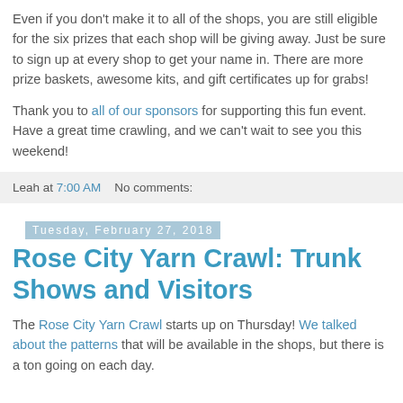Even if you don't make it to all of the shops, you are still eligible for the six prizes that each shop will be giving away. Just be sure to sign up at every shop to get your name in. There are more prize baskets, awesome kits, and gift certificates up for grabs!
Thank you to all of our sponsors for supporting this fun event. Have a great time crawling, and we can't wait to see you this weekend!
Leah at 7:00 AM   No comments:
Tuesday, February 27, 2018
Rose City Yarn Crawl: Trunk Shows and Visitors
The Rose City Yarn Crawl starts up on Thursday! We talked about the patterns that will be available in the shops, but there is a ton going on each day.